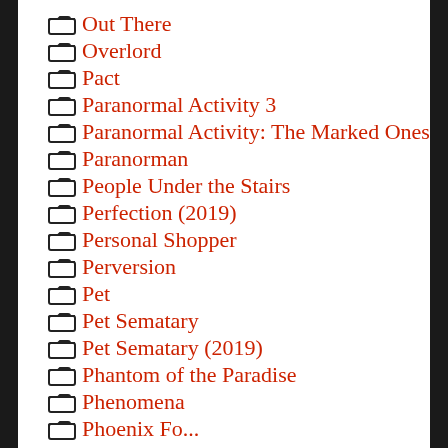Out There
Overlord
Pact
Paranormal Activity 3
Paranormal Activity: The Marked Ones
Paranorman
People Under the Stairs
Perfection (2019)
Personal Shopper
Perversion
Pet
Pet Sematary
Pet Sematary (2019)
Phantom of the Paradise
Phenomena
Phoenix Forgotten